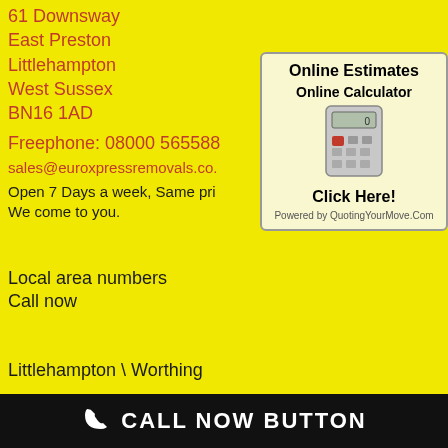61 Downsway
East Preston
Littlehampton
West Sussex
BN16 1AD
Freephone: 08000 565588
sales@euroxpressremovals.co.
Open 7 Days a week, Same pri
We come to you.
[Figure (infographic): Online Estimates box with Online Calculator heading, calculator image, Click Here! button, and Powered by QuotingYourMove.Com text]
Local area numbers
Call now
Littlehampton \ Worthing
CALL NOW BUTTON